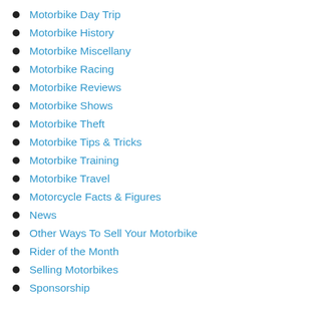Motorbike Day Trip
Motorbike History
Motorbike Miscellany
Motorbike Racing
Motorbike Reviews
Motorbike Shows
Motorbike Theft
Motorbike Tips & Tricks
Motorbike Training
Motorbike Travel
Motorcycle Facts & Figures
News
Other Ways To Sell Your Motorbike
Rider of the Month
Selling Motorbikes
Sponsorship